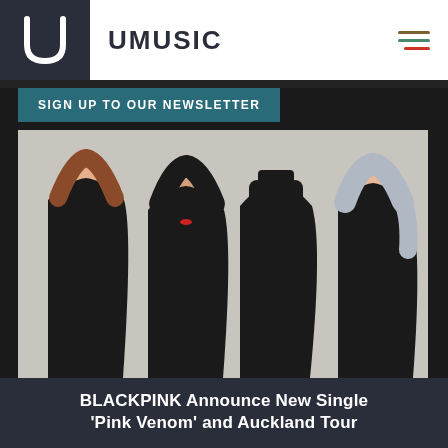UMUSIC
SIGN UP TO OUR NEWSLETTER
[Figure (photo): Four members of BLACKPINK posing against a light grey background, all wearing black outfits. Left to right: member with reddish-brown hair, member with dark hair and red lips, member with long straight black hair, member with silver/grey hair. All styled glamorously.]
BLACKPINK Announce New Single 'Pink Venom' and Auckland Tour